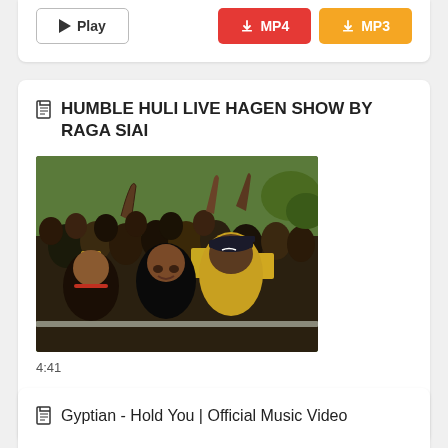[Figure (screenshot): Top of a video card (partial, cut off) showing Play button, MP4 download button (red), and MP3 download button (orange)]
HUMBLE HULI LIVE HAGEN SHOW BY RAGA SIAI
[Figure (photo): Crowd of people at a live music show, many with arms raised, some wearing yellow clothing, man in black cap and yellow shirt in foreground]
4:41
Play  MP4  MP3
Gyptian - Hold You | Official Music Video